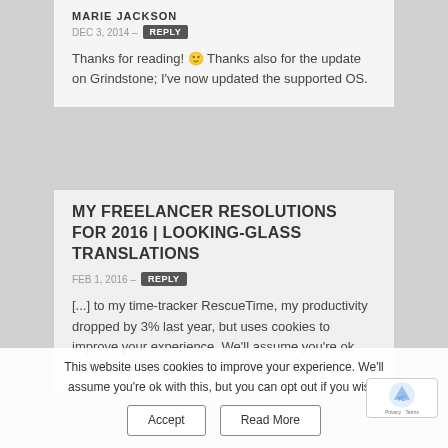MARIE JACKSON
DEC 3, 2014 – REPLY
Thanks for reading! 🙂 Thanks also for the update on Grindstone; I've now updated the supported OS.
MY FREELANCER RESOLUTIONS FOR 2016 | LOOKING-GLASS TRANSLATIONS
FEB 1, 2016 – REPLY
[...] to my time-tracker RescueTime, my productivity dropped by 3% last year, but uses cookies to improve your experience. We'll assume you're ok with this, but you can opt out if you wish.
This website uses cookies to improve your experience. We'll assume you're ok with this, but you can opt out if you wish.
Accept | Read More